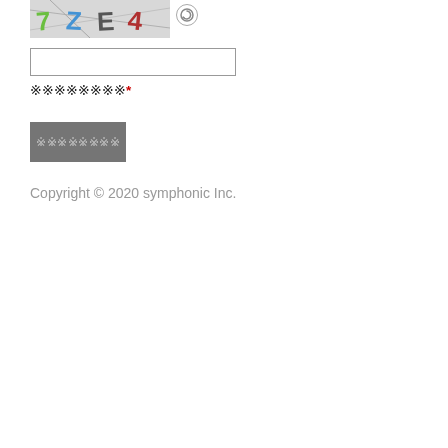[Figure (screenshot): CAPTCHA image showing characters '7 Z E 4' with a refresh/reload icon button to the right]
[Figure (screenshot): Text input field (empty) for entering CAPTCHA code]
※※※※※※※※*
[Figure (screenshot): Gray submit button with obscured label text]
Copyright © 2020 symphonic Inc.